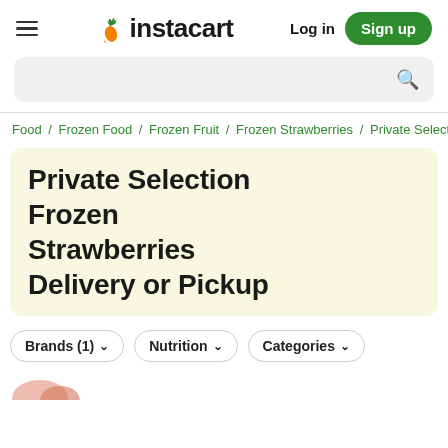Instacart — Log in | Sign up
[Figure (screenshot): Instacart logo with orange carrot icon and green leaf, bold dark text 'instacart']
Food / Frozen Food / Frozen Fruit / Frozen Strawberries / Private Selection
Private Selection Frozen Strawberries Delivery or Pickup
Brands (1) ∨   Nutrition ∨   Categories ∨